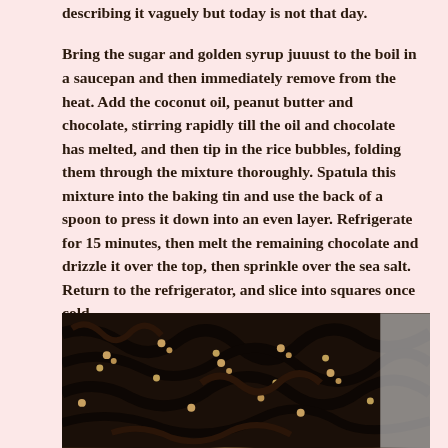describing it vaguely but today is not that day.
Bring the sugar and golden syrup juuust to the boil in a saucepan and then immediately remove from the heat. Add the coconut oil, peanut butter and chocolate, stirring rapidly till the oil and chocolate has melted, and then tip in the rice bubbles, folding them through the mixture thoroughly. Spatula this mixture into the baking tin and use the back of a spoon to press it down into an even layer. Refrigerate for 15 minutes, then melt the remaining chocolate and drizzle it over the top, then sprinkle over the sea salt. Return to the refrigerator, and slice into squares once cold.
[Figure (photo): Close-up photograph of chocolate rice bubble slice with drizzled chocolate on top, showing textured surface with visible rice bubbles and chocolate coating, with a white surface visible at the right edge.]